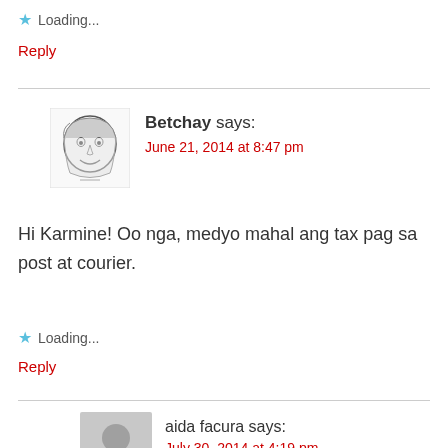★ Loading...
Reply
Betchay says:
June 21, 2014 at 8:47 pm
Hi Karmine! Oo nga, medyo mahal ang tax pag sa post at courier.
★ Loading...
Reply
aida facura says:
July 30, 2014 at 4:19 pm